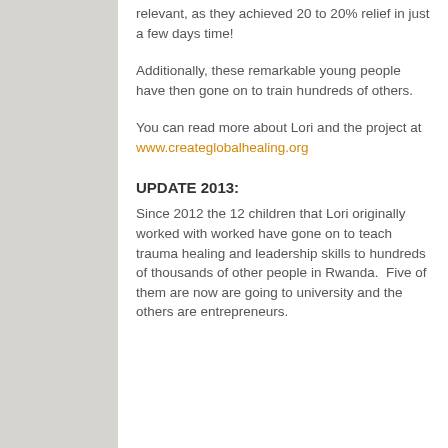relevant, as they achieved 20 to 20% relief in just a few days time!
Additionally, these remarkable young people have then gone on to train hundreds of others.
You can read more about Lori and the project at www.createglobalhealing.org
UPDATE 2013:
Since 2012 the 12 children that Lori originally worked with worked have gone on to teach trauma healing and leadership skills to hundreds of thousands of other people in Rwanda.  Five of them are now are going to university and the others are entrepreneurs.